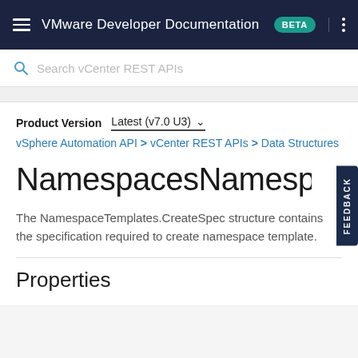VMware Developer Documentation BETA
Search vCenter REST APIs
Product Version   Latest (v7.0 U3)
vSphere Automation API > vCenter REST APIs > Data Structures
NamespacesNamespaceTemplatesCreateSpec
The NamespaceTemplates.CreateSpec structure contains the specification required to create namespace template.
Properties